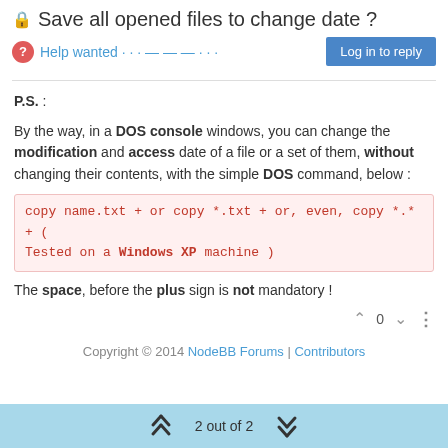🔒 Save all opened files to change date ?
? Help wanted · · · — — — · · ·   Log in to reply
P.S. :
By the way, in a DOS console windows, you can change the modification and access date of a file or a set of them, without changing their contents, with the simple DOS command, below :
copy name.txt + or copy *.txt + or, even, copy *.* + ( Tested on a Windows XP machine )
The space, before the plus sign is not mandatory !
Copyright © 2014 NodeBB Forums | Contributors
2 out of 2